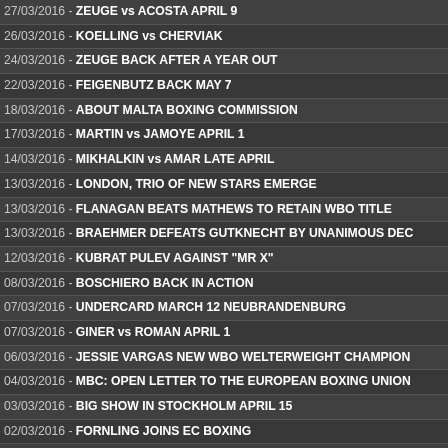27/03/2016 - ZEUGE vs ACOSTA APRIL 9
26/03/2016 - KOELLING vs CHERVIAK
24/03/2016 - ZEUGE BACK AFTER A YEAR OUT
22/03/2016 - FEIGENBUTZ BACK MAY 7
18/03/2016 - ABOUT MALTA BOXING COMMISSION
17/03/2016 - MARTIN vs JAMOYE APRIL 1
14/03/2016 - MIKHALKIN vs AMAR LATE APRIL
13/03/2016 - LONDON, TRIO OF NEW STARS EMERGE
13/03/2016 - FLANAGAN BEATS MATHEWS TO RETAIN WBO TITLE
13/03/2016 - BRAEHMER DEFEATS GUTKNECHT BY UNANIMOUS DEC
12/03/2016 - KUBRAT PULEV AGAINST "MR X"
08/03/2016 - BOSCHIERO BACK IN ACTION
07/03/2016 - UNDERCARD MARCH 12 NEUBRANDENBURG
07/03/2016 - GINER vs ROMAN APRIL 1
06/03/2016 - JESSIE VARGAS NEW WBO WELTERWEIGHT CHAMPION
04/03/2016 - MBC: OPEN LETTER TO THE EUROPEAN BOXING UNION
03/03/2016 - BIG SHOW IN STOCKHOLM APRIL 15
02/03/2016 - FORNLING JOINS EC BOXING
01/03/2016 - GOULAMIRIAN vs SUDA MARCH 5
28/02/2016 - SANTA CRUZ STOPS KIKO MARTINEZ IN FIVE
28/02/2016 - CRAWFORD RETAINS TITLE AGAINST LUNDY
28/02/2016 - FRAMPTON DEFETAS QUIGG BY A PLIT DECISION
26/02/2016 - SIMION vs MISKIRTCHIAN MARCH 18
26/02/2016 - NIMANI AND BRITSCH ON HUCK-AFOLABI UNDERCARD
23/02/2016 - RICCI vs DEMCHENKO MARCH 12 IN ROME
22/02/2016 - BEAUSSIRE vs SANTOS APRIL 9
17/02/2016 - FORMER WORLD FLYWEIGHT CHAMPION WALTER...